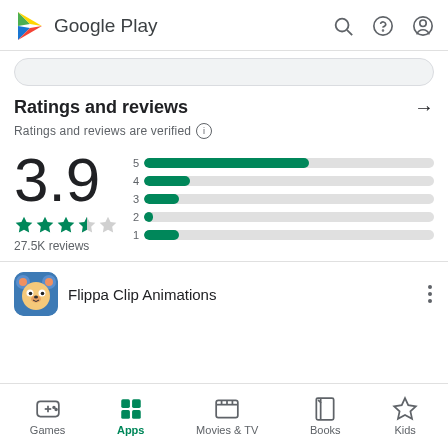Google Play
Ratings and reviews
Ratings and reviews are verified
[Figure (bar-chart): Rating distribution]
3.9
27.5K reviews
Flippa Clip Animations
Games  Apps  Movies & TV  Books  Kids